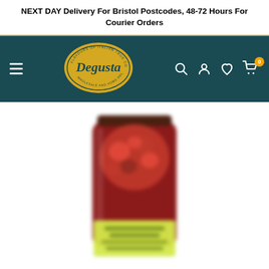NEXT DAY Delivery For Bristol Postcodes, 48-72 Hours For Courier Orders
[Figure (logo): Degusta logo - gold oval with cursive Degusta text and tagline 'Flavours of Italian True Cooking, Wholesale and Home Delivery']
[Figure (photo): Blurred photo of a large glass jar filled with red cherries or similar red preserved fruit, with a yellow label on the front showing product information]